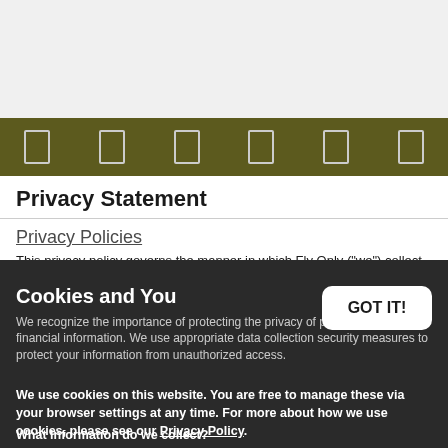[Figure (other): Gray header banner area at the top of the page]
[Figure (other): Olive/dark yellow navigation bar with 6 icon placeholders separated by dividers]
Privacy Statement
Privacy Policies
This privacy policy governs the manner in which Fly Only ("we") collect, use, maintain and disclose information collected from users (each, a "user") of the www.flyonlyonline.co.uk website ("site"). This privacy policy applies to all users of the site and all products and services offered by Fly Only.
Cookies and You
We use cookies on this website. You are free to manage these via your browser settings at any time. For more about how we use cookies, please see our Privacy Policy.
What information do we collect?